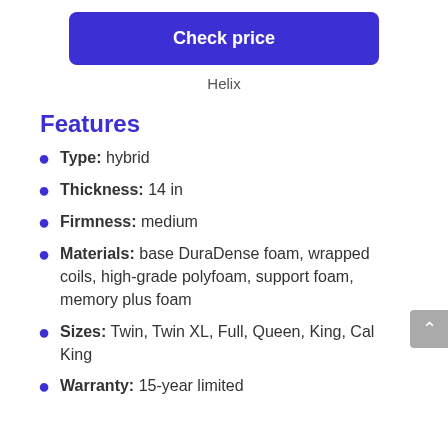Check price
Helix
Features
Type: hybrid
Thickness: 14 in
Firmness: medium
Materials: base DuraDense foam, wrapped coils, high-grade polyfoam, support foam, memory plus foam
Sizes: Twin, Twin XL, Full, Queen, King, Cal King
Warranty: 15-year limited